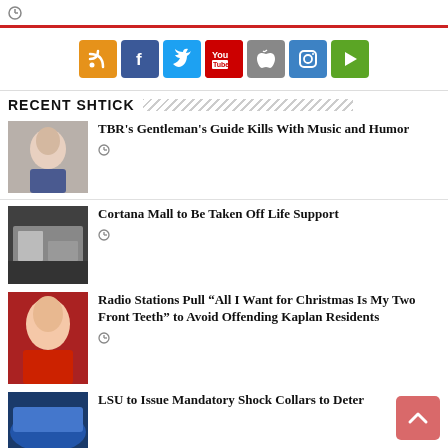[Figure (infographic): Row of social media icon buttons: RSS (orange), Facebook (blue), Twitter (light blue), YouTube (red), Apple (gray), Instagram (blue), Play (green)]
RECENT SHTICK
TBR's Gentleman's Guide Kills With Music and Humor
Cortana Mall to Be Taken Off Life Support
Radio Stations Pull “All I Want for Christmas Is My Two Front Teeth” to Avoid Offending Kaplan Residents
LSU to Issue Mandatory Shock Collars to Deter